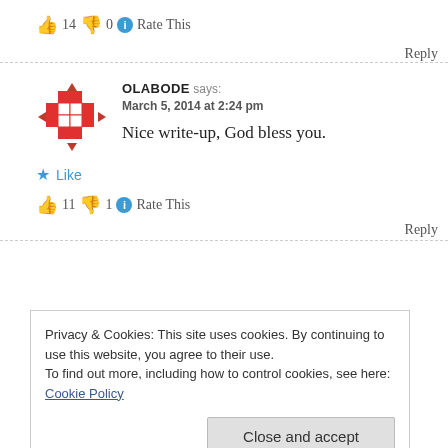👍 14 👎 0 ℹ Rate This
Reply
OLABODE says: March 5, 2014 at 2:24 pm
Nice write-up, God bless you.
★ Like
👍 11 👎 1 ℹ Rate This
Reply
Privacy & Cookies: This site uses cookies. By continuing to use this website, you agree to their use. To find out more, including how to control cookies, see here: Cookie Policy
Close and accept